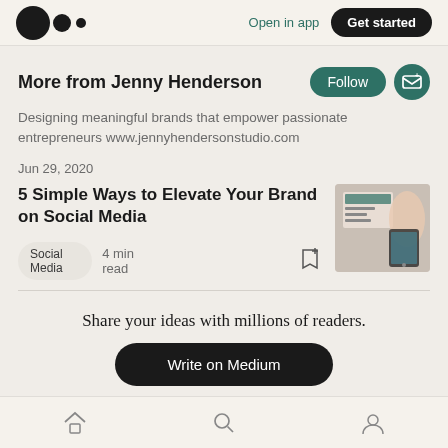Open in app | Get started
More from Jenny Henderson
Designing meaningful brands that empower passionate entrepreneurs www.jennyhendersonstudio.com
Jun 29, 2020
5 Simple Ways to Elevate Your Brand on Social Media
Social Media   4 min read
[Figure (photo): Thumbnail image of article about social media branding showing a phone and design elements]
Share your ideas with millions of readers.
Write on Medium
Home | Search | Profile